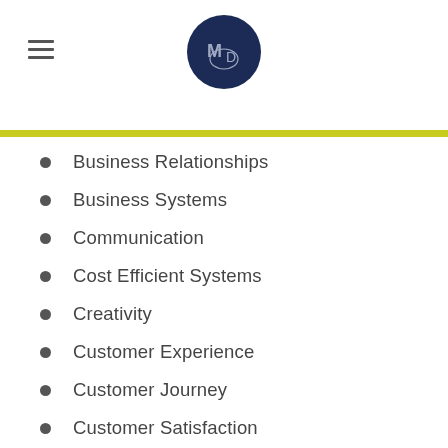MD logo and hamburger menu
Business Relationships
Business Systems
Communication
Cost Efficient Systems
Creativity
Customer Experience
Customer Journey
Customer Satisfaction
Easy Business
Efficiency
Entrepreneur